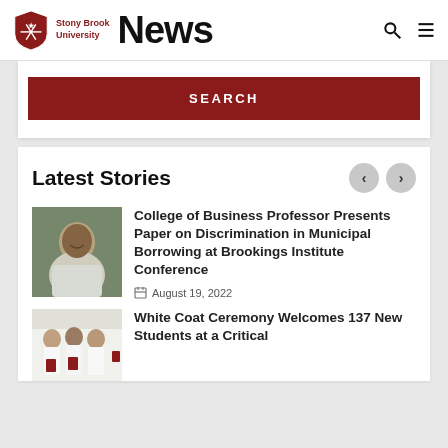Stony Brook University News
SEARCH
Latest Stories
[Figure (photo): Portrait of a Black male professor in a white shirt, smiling, outdoors]
College of Business Professor Presents Paper on Discrimination in Municipal Borrowing at Brookings Institute Conference
August 19, 2022
[Figure (photo): Group of students in white coats at a ceremony, some holding red folders]
White Coat Ceremony Welcomes 137 New Students at a Critical